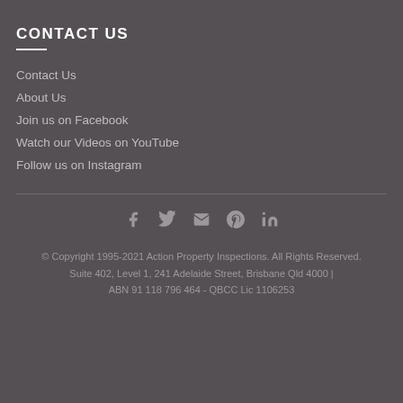CONTACT US
Contact Us
About Us
Join us on Facebook
Watch our Videos on YouTube
Follow us on Instagram
[Figure (infographic): Social media icons: Facebook, Twitter, Email, Pinterest, LinkedIn]
© Copyright 1995-2021 Action Property Inspections. All Rights Reserved.
Suite 402, Level 1, 241 Adelaide Street, Brisbane Qld 4000 | ABN 91 118 796 464 - QBCC Lic 1106253